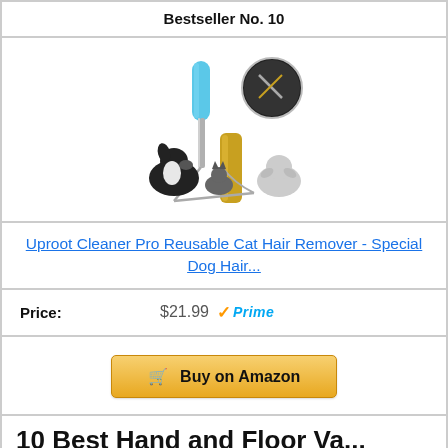Bestseller No. 10
[Figure (photo): Product image of Uproot Cleaner Pro hair remover tool with blue handle, shown with a dog and cat in the background]
Uproot Cleaner Pro Reusable Cat Hair Remover - Special Dog Hair...
Price: $21.99 Prime
Buy on Amazon
10 Best Hand and Floor Va...